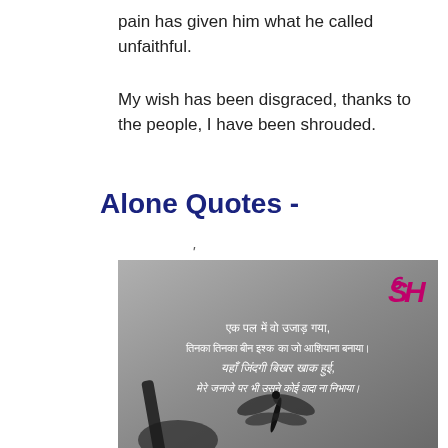pain has given him what he called unfaithful.
My wish has been disgraced, thanks to the people, I have been shrouded.
Alone Quotes -
'
[Figure (photo): A grayscale image with a dragonfly silhouette on a leaf, overlaid with Hindi poetry text and a magenta logo in the top right corner. The text reads: एक पल में वो उजाड़ गया, तिनका तिनका बीन इश्क का जो आशियाना बनाया। यहाँ जिंदगी बिखर खाक हुई, मेरे जनाजे पर भी उसने कोई वादा ना निभाया।]